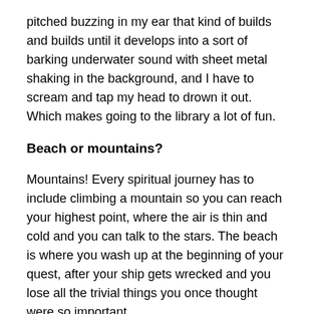pitched buzzing in my ear that kind of builds and builds until it develops into a sort of barking underwater sound with sheet metal shaking in the background, and I have to scream and tap my head to drown it out. Which makes going to the library a lot of fun.
Beach or mountains?
Mountains! Every spiritual journey has to include climbing a mountain so you can reach your highest point, where the air is thin and cold and you can talk to the stars. The beach is where you wash up at the beginning of your quest, after your ship gets wrecked and you lose all the trivial things you once thought were so important.
What inspires you?
I like hearing about people who overcome old hatreds and